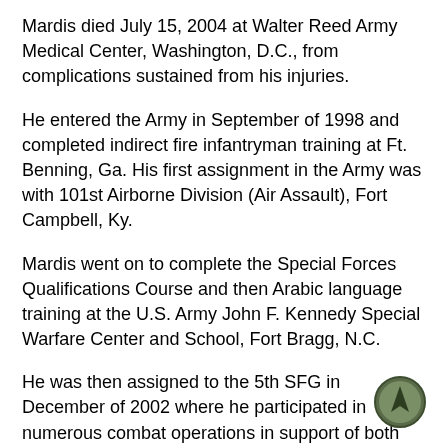Mardis died July 15, 2004 at Walter Reed Army Medical Center, Washington, D.C., from complications sustained from his injuries.
He entered the Army in September of 1998 and completed indirect fire infantryman training at Ft. Benning, Ga. His first assignment in the Army was with 101st Airborne Division (Air Assault), Fort Campbell, Ky.
Mardis went on to complete the Special Forces Qualifications Course and then Arabic language training at the U.S. Army John F. Kennedy Special Warfare Center and School, Fort Bragg, N.C.
He was then assigned to the 5th SFG in December of 2002 where he participated in numerous combat operations in support of both Operations Enduring and Iraqi Freedom.
[Figure (logo): Circular navigation compass icon with dark green border and dark green arrow pointing upward on a lighter green background]
His awards include the Purple Heart, the Army Commendation Medal, the Army Achievement